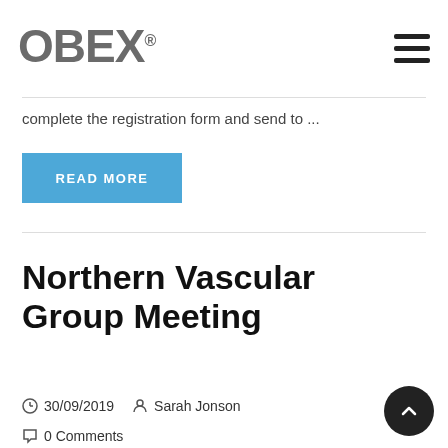OBEX®
complete the registration form and send to ...
READ MORE
Northern Vascular Group Meeting
30/09/2019   Sarah Jonson
0 Comments